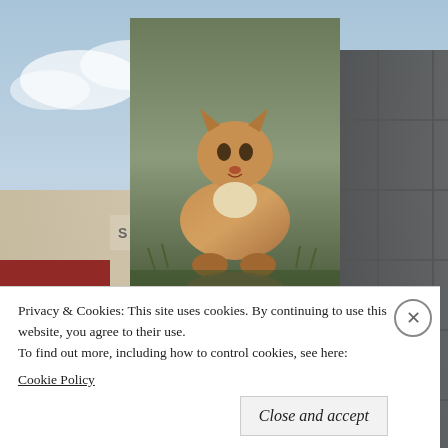[Figure (photo): Background photo of a school building (San Lorenzo High School) with blue sky and clouds. A cougar (mountain lion) image is overlaid in the center-upper portion of the image.]
The Claw
Well-covered stories written by well-addicted journalists
Privacy & Cookies: This site uses cookies. By continuing to use this website, you agree to their use.
To find out more, including how to control cookies, see here: Cookie Policy
Close and accept